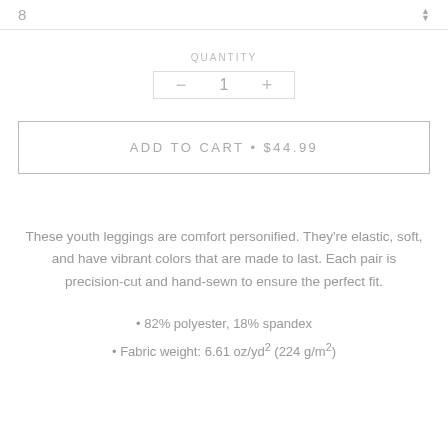8
QUANTITY
− 1 +
ADD TO CART • $44.99
These youth leggings are comfort personified. They're elastic, soft, and have vibrant colors that are made to last. Each pair is precision-cut and hand-sewn to ensure the perfect fit.
• 82% polyester, 18% spandex
• Fabric weight: 6.61 oz/yd² (224 g/m²)